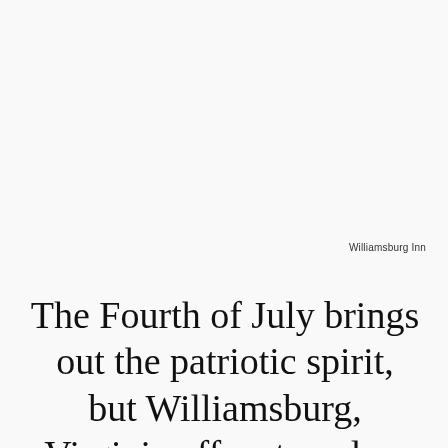Williamsburg Inn
The Fourth of July brings out the patriotic spirit, but Williamsburg, Virginia offers travelers the chance to celebrate American